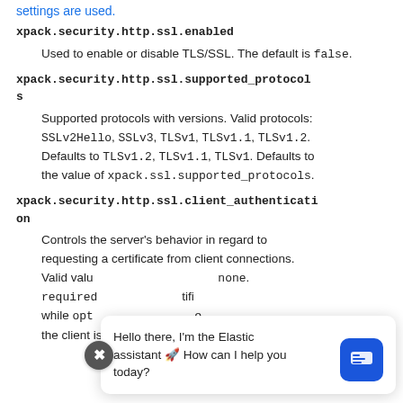settings are used.
xpack.security.http.ssl.enabled
Used to enable or disable TLS/SSL. The default is false.
xpack.security.http.ssl.supported_protocols
Supported protocols with versions. Valid protocols: SSLv2Hello, SSLv3, TLSv1, TLSv1.1, TLSv1.2. Defaults to TLSv1.2, TLSv1.1, TLSv1. Defaults to the value of xpack.ssl.supported_protocols.
xpack.security.http.ssl.client_authentication
Controls the server’s behavior in regard to requesting a certificate from client connections. Valid values are none. required and optional. If required, a client must present a certificate, while opt allows the client to present one, but is not required to do so. Defaults to the client is not required to present one. Defaults